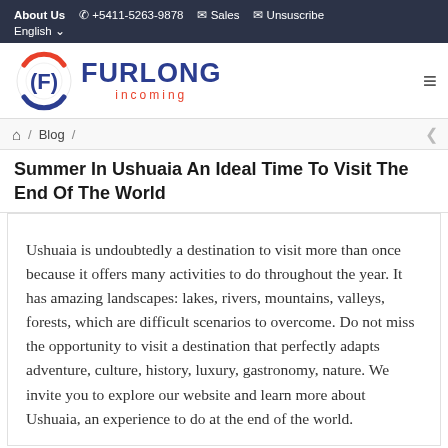About Us  +5411-5263-9878  Sales  Unsuscribe  English
[Figure (logo): Furlong Incoming travel company logo with circular F emblem in red/blue and company name]
Blog
Summer In Ushuaia An Ideal Time To Visit The End Of The World
Ushuaia is undoubtedly a destination to visit more than once because it offers many activities to do throughout the year. It has amazing landscapes: lakes, rivers, mountains, valleys, forests, which are difficult scenarios to overcome. Do not miss the opportunity to visit a destination that perfectly adapts adventure, culture, history, luxury, gastronomy, nature. We invite you to explore our website and learn more about Ushuaia, an experience to do at the end of the world.